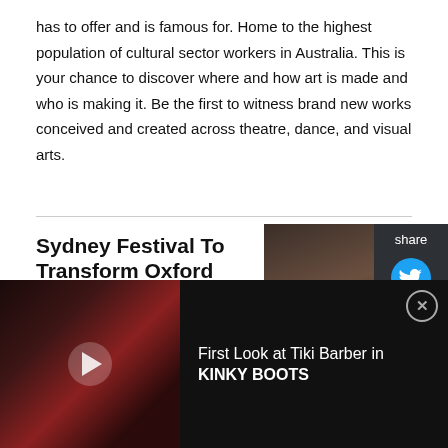has to offer and is famous for. Home to the highest population of cultural sector workers in Australia. This is your chance to discover where and how art is made and who is making it. Be the first to witness brand new works conceived and created across theatre, dance, and visual arts.
Sydney Festival To Transform Oxford Street Next Week With A Monumental New Work From One Of The World's Most Celebrated Photographers
August 17, 2022
In a special out-of-season presentation, Sydney Festival will bring the work of revered Canadian photographer Edward Burtynsky – known for his large-scale
[Figure (photo): Dark theatrical or artistic photograph thumbnail next to article title]
[Figure (screenshot): Video advertisement bar at bottom: 'First Look at Tiki Barber in KINKY BOOTS' with a dark stage photo showing red lighting and a play button]